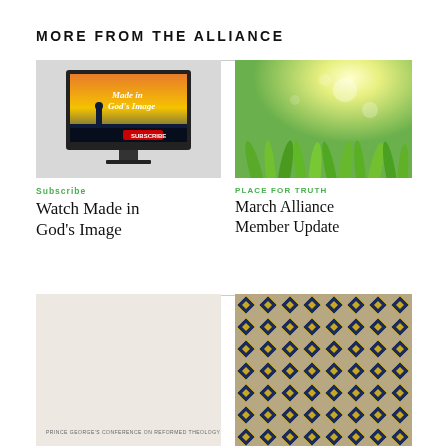MORE FROM THE ALLIANCE
[Figure (screenshot): Computer monitor displaying 'Made in God's Image' video thumbnail with a silhouetted figure and subscribe button]
Subscribe
Watch Made in God's Image
[Figure (photo): Close-up photo of bright green grass with sunlight and bokeh effect]
PLACE FOR TRUTH
March Alliance Member Update
[Figure (photo): Partial view of a conference banner reading 'PRINCE GEORGE'S CONFERENCE ON REFORMED THEOLOGY' with beige/tan background]
[Figure (photo): Partial view of decorative dark fabric or material with diamond/quatrefoil pattern in navy and gold]